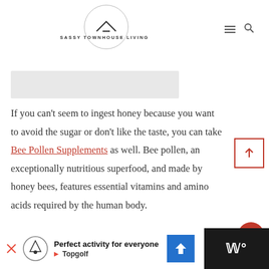SASSY TOWNHOUSE LIVING
If you can't seem to ingest honey because you want to avoid the sugar or don't like the taste, you can take Bee Pollen Supplements as well. Bee pollen, an exceptionally nutritious superfood, and made by honey bees, features essential vitamins and amino acids required by the human body.